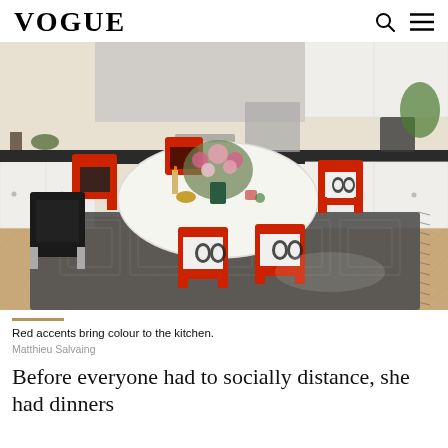VOGUE
[Figure (photo): Kitchen dining area with white oval table, red chairs with black and white patterned upholstery, dark patterned rug, white cabinetry with dark countertops, and a large floral arrangement in the center]
Red accents bring colour to the kitchen.
Matthieu Salvaing
Before everyone had to socially distance, she had dinners